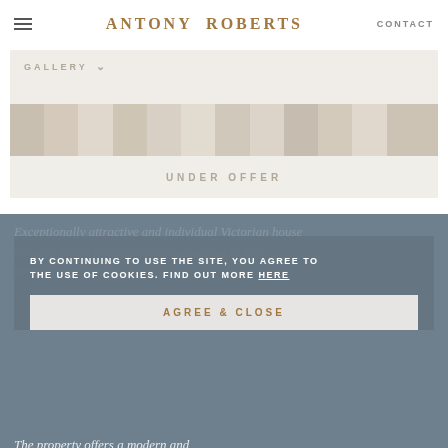ANTONY ROBERTS   CONTACT
[Figure (screenshot): Gallery image strip showing a row of building facade thumbnails with 'GALLERY' dropdown label and 'UNDER OFFER' overlay text]
BY CONTINUING TO USE THE SITE, YOU AGREE TO THE USE OF COOKIES. FIND OUT MORE HERE
AGREE & CLOSE
The property offers a modern and